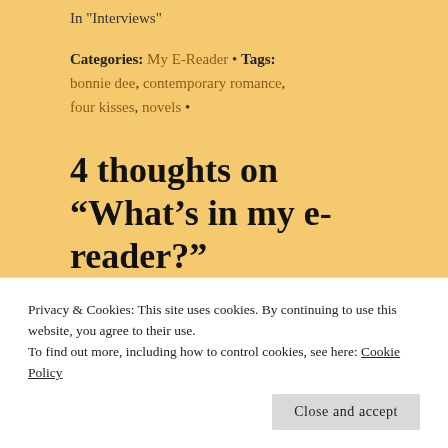In "Interviews"
Categories: My E-Reader • Tags: bonnie dee, contemporary romance, four kisses, novels •
4 thoughts on “What’s in my e-reader?”
Privacy & Cookies: This site uses cookies. By continuing to use this website, you agree to their use.
To find out more, including how to control cookies, see here: Cookie Policy
Close and accept
Crook